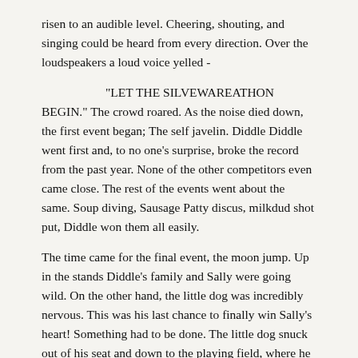risen to an audible level. Cheering, shouting, and singing could be heard from every direction. Over the loudspeakers a loud voice yelled -
“LET THE SILVEWAREATHON BEGIN.” The crowd roared. As the noise died down, the first event began; The self javelin. Diddle Diddle went first and, to no one’s surprise, broke the record from the past year. None of the other competitors even came close. The rest of the events went about the same. Soup diving, Sausage Patty discus, milkdud shot put, Diddle won them all easily.
The time came for the final event, the moon jump. Up in the stands Diddle’s family and Sally were going wild. On the other hand, the little dog was incredibly nervous. This was his last chance to finally win Sally’s heart! Something had to be done. The little dog snuck out of his seat and down to the playing field, where he waited underneath the moon pie until it was Diddle’s turn. As Diddle sprinted up and attempted his signature triple flip moon leap, the little dog shifted the moon pie up just a hair, tripping Diddle. Everyone in the crowd